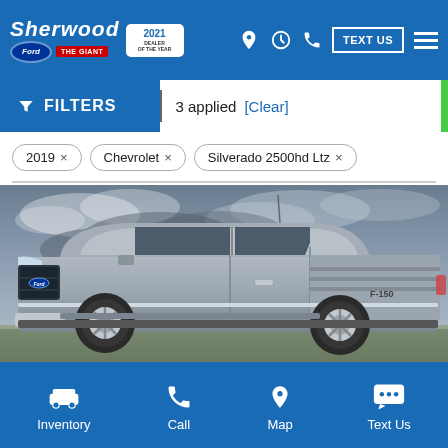Sherwood Ford The Giant – 2021 Dealer of the Year
FILTERS | 3 applied [Clear]
2019 ×
Chevrolet ×
Silverado 2500hd Ltz ×
[Figure (photo): Side profile photo of a silver Ford F-150 pickup truck parked outdoors with cloudy sky background]
Inventory | Call | Map | Text Us